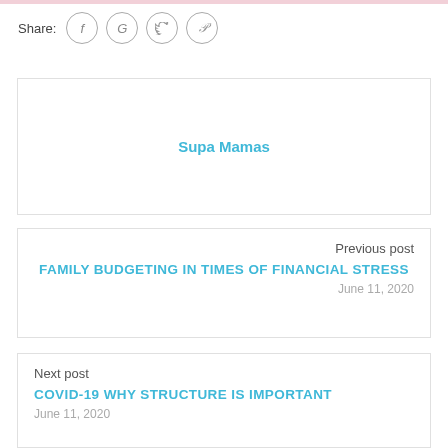Share:
[Figure (other): Social share icons: Facebook (f), Google (G), Twitter (bird), Pinterest (p) as outlined circles]
Supa Mamas
Previous post
FAMILY BUDGETING IN TIMES OF FINANCIAL STRESS
June 11, 2020
Next post
COVID-19 WHY STRUCTURE IS IMPORTANT
June 11, 2020